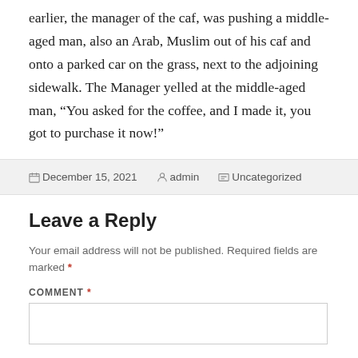earlier, the manager of the caf, was pushing a middle-aged man, also an Arab, Muslim out of his caf and onto a parked car on the grass, next to the adjoining sidewalk. The Manager yelled at the middle-aged man, “You asked for the coffee, and I made it, you got to purchase it now!”
December 15, 2021  admin  Uncategorized
Leave a Reply
Your email address will not be published. Required fields are marked *
COMMENT *